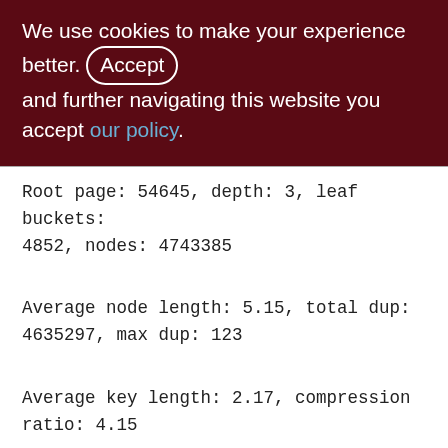We use cookies to make your experience better. By accepting and further navigating this website you accept our policy.
Root page: 54645, depth: 3, leaf buckets: 4852, nodes: 4743385
Average node length: 5.15, total dup: 4635297, max dup: 123
Average key length: 2.17, compression ratio: 4.15
Average prefix length: 8.85, average data length: 0.15
Clustering factor: 760244, ratio: 0.16
Fill distribution:
0 - 19% = 18
20 - 39% = 92